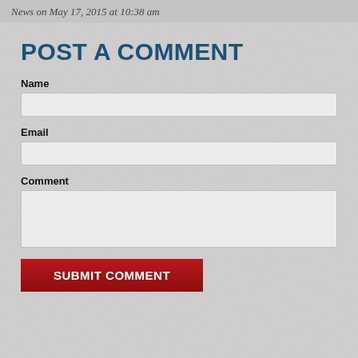News on May 17, 2015 at 10:38 am
POST A COMMENT
Name
Email
Comment
SUBMIT COMMENT